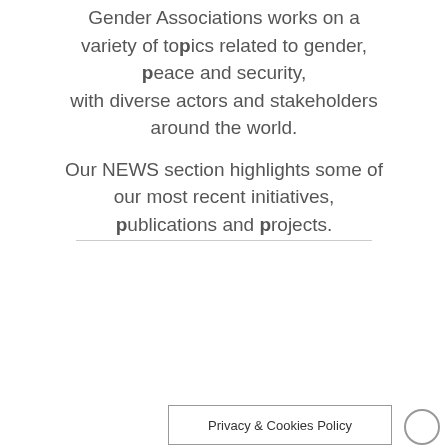Gender Associations works on a variety of topics related to gender, peace and security, with diverse actors and stakeholders around the world.

Our NEWS section highlights some of our most recent initiatives, publications and projects.
Privacy & Cookies Policy